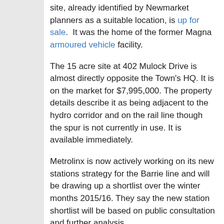site, already identified by Newmarket planners as a suitable location, is up for sale. It was the home of the former Magna armoured vehicle facility.
The 15 acre site at 402 Mulock Drive is almost directly opposite the Town's HQ. It is on the market for $7,995,000. The property details describe it as being adjacent to the hydro corridor and on the rail line though the spur is not currently in use. It is available immediately.
Metrolinx is now actively working on its new stations strategy for the Barrie line and will be drawing up a shortlist over the winter months 2015/16. They say the new station shortlist will be based on public consultation and further analysis.
Circles on a map
Who knows if there is anything more to the Town's pitch for a new station at Mulock Drive than a few circles on the map? Are there background papers? Has any serious work been done? How has the proposal been developed and taken forward? Have any steps been taken in closed session to buy the land that is now available? If not, why not? The Chief Administrative Officer, Bob Shelton, may well have warned councillors of the perils of going down that road, telling them the Town is not in the business of railways. After all, he told them years ago in secret session that the Town was not in the business of running